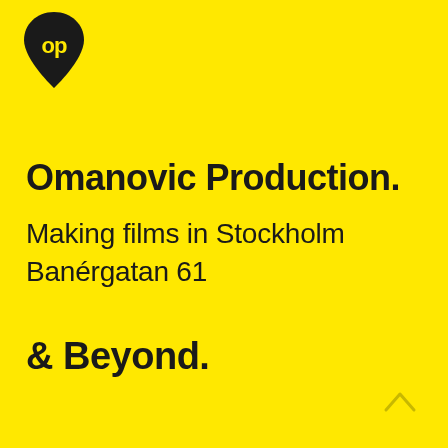[Figure (logo): Black teardrop/location-pin shaped logo with letters 'op' inside, for Omanovic Production]
Omanovic Production.
Making films in Stockholm
Banérgatan 61
& Beyond.